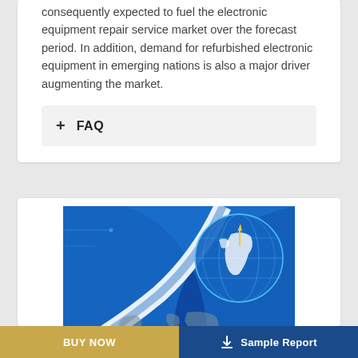consequently expected to fuel the electronic equipment repair service market over the forecast period. In addition, demand for refurbished electronic equipment in emerging nations is also a major driver augmenting the market.
+ FAQ
[Figure (illustration): Report cover image showing a blue globe with world map and tech/circuit elements on a blue swirling background]
BUY NOW
Sample Report